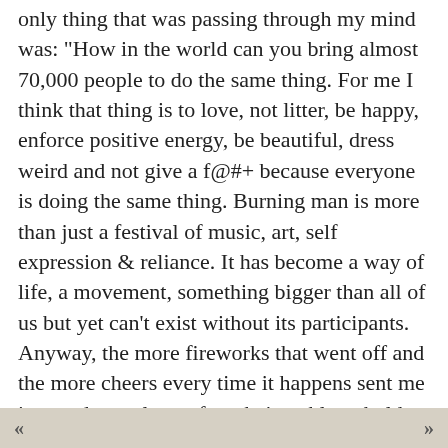only thing that was passing through my mind was: 'How in the world can you bring almost 70,000 people to do the same thing. For me I think that thing is to love, not litter, be happy, enforce positive energy, be beautiful, dress weird and not give a f@#+ because everyone is doing the same thing. Burning man is more than just a festival of music, art, self expression & reliance. It has become a way of life, a movement, something bigger than all of us but yet can't exist without its participants. Anyway, the more fireworks that went off and the more cheers every time it happens sent me in to a deeper loop of not being able to hold myself in and just dropping more and more tears that my eyes started to burn. From here to there people started to scatter and had only one thing to do that I thought would help to let it out. I went up to the lady who triggers this Wow event in me, I tapped her shoulder, she turned to me and I immediately jumped to hug her like you would hug yo
« »